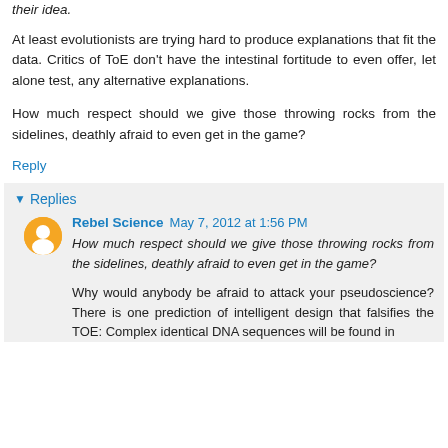their idea.
At least evolutionists are trying hard to produce explanations that fit the data. Critics of ToE don't have the intestinal fortitude to even offer, let alone test, any alternative explanations.
How much respect should we give those throwing rocks from the sidelines, deathly afraid to even get in the game?
Reply
Replies
Rebel Science May 7, 2012 at 1:56 PM
How much respect should we give those throwing rocks from the sidelines, deathly afraid to even get in the game?
Why would anybody be afraid to attack your pseudoscience? There is one prediction of intelligent design that falsifies the TOE: Complex identical DNA sequences will be found in